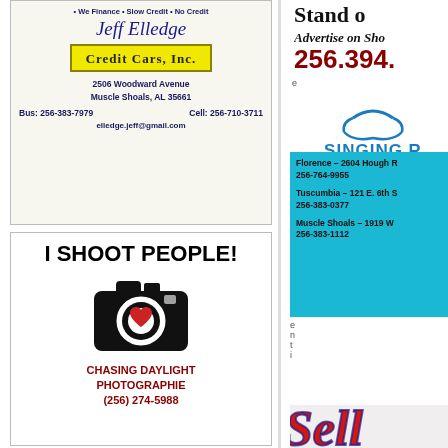• We Finance • Slow Credit • No Credit
Jeff Elledge
Credit Cars, Inc.
2506 Woodward Avenue
Muscle Shoals, AL 35661
Bus: 256-383-7979    Cell: 256-710-3711
elledge.jeff@gmail.com
I SHOOT PEOPLE!
[Figure (illustration): Camera icon with heart in lens]
CHASING DAYLIGHT PHOTOGRAPHIE
(256) 274-5988
Stand o
Advertise on Sho
256.394.
e
[Figure (logo): Singing River Dentistry logo with tooth icon]
SINGING R
DENTISTR
Florence - 2604 Hough R
256-764-9955
Tuscumbia - 121 E. 6th S
256-383-0377
Muscle Shoals - 1919 W
256-383-1112
e
n
t
i
[Figure (illustration): Partial cursive script advertisement, partially visible]